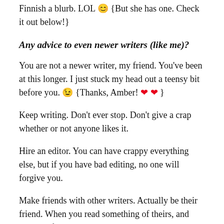Finnish a blurb. LOL 😊 {But she has one. Check it out below!}
Any advice to even newer writers (like me)?
You are not a newer writer, my friend. You've been at this longer. I just stuck my head out a teensy bit before you. 😉 {Thanks, Amber! ❤ ❤ }
Keep writing. Don't ever stop. Don't give a crap whether or not anyone likes it.
Hire an editor. You can have crappy everything else, but if you have bad editing, no one will forgive you.
Make friends with other writers. Actually be their friend. When you read something of theirs, and they ask for your opinion, give it – but give them